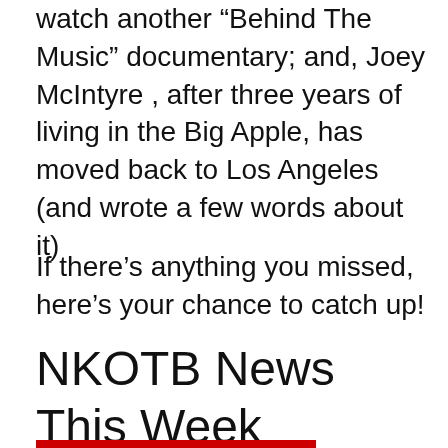watch another "Behind The Music" documentary; and, Joey McIntyre , after three years of living in the Big Apple, has moved back to Los Angeles (and wrote a few words about it)
If there’s anything you missed, here’s your chance to catch up!
NKOTB News This Week